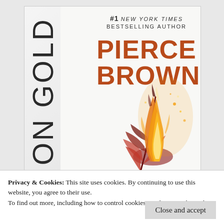[Figure (illustration): Book cover for a novel by Pierce Brown (#1 New York Times Bestselling Author). The title appears partially visible as 'ON GOLD' rotated vertically on the left spine. The right side shows the author name 'PIERCE BROWN' in large orange/brown letters. A dramatic fire and feather illustration fills the lower half of the cover.]
Privacy & Cookies: This site uses cookies. By continuing to use this website, you agree to their use.
To find out more, including how to control cookies, see here: Cookie Policy
Close and accept